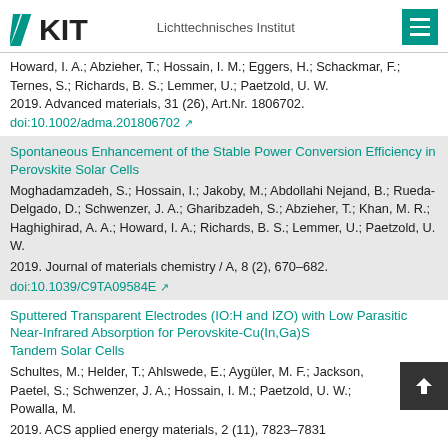KIT — Lichttechnisches Institut
Howard, I. A.; Abzieher, T.; Hossain, I. M.; Eggers, H.; Schackmar, F.; Ternes, S.; Richards, B. S.; Lemmer, U.; Paetzold, U. W. 2019. Advanced materials, 31 (26), Art.Nr. 1806702. doi:10.1002/adma.201806702
Spontaneous Enhancement of the Stable Power Conversion Efficiency in Perovskite Solar Cells
Moghadamzadeh, S.; Hossain, I.; Jakoby, M.; Abdollahi Nejand, B.; Rueda-Delgado, D.; Schwenzer, J. A.; Gharibzadeh, S.; Abzieher, T.; Khan, M. R.; Haghighirad, A. A.; Howard, I. A.; Richards, B. S.; Lemmer, U.; Paetzold, U. W. 2019. Journal of materials chemistry / A, 8 (2), 670–682. doi:10.1039/C9TA09584E
Sputtered Transparent Electrodes (IO:H and IZO) with Low Parasitic Near-Infrared Absorption for Perovskite-Cu(In,Ga)S Tandem Solar Cells
Schultes, M.; Helder, T.; Ahlswede, E.; Aygüler, M. F; Jackson, Paetel, S.; Schwenzer, J. A.; Hossain, I. M.; Paetzold, U. W.; Powalla, M. 2019. ACS applied energy materials, 2 (11), 7823–7831